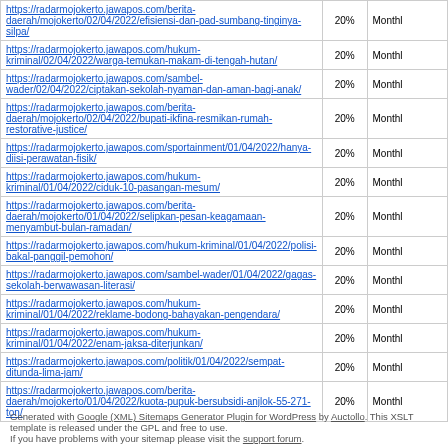| URL | Priority | Change Frequency |
| --- | --- | --- |
| https://radarmojokerto.jawapos.com/berita-daerah/mojokerto/02/04/2022/efisiensi-dan-pad-sumbang-tinginya-silpa/ | 20% | Monthly |
| https://radarmojokerto.jawapos.com/hukum-kriminal/02/04/2022/warga-temukan-makam-di-tengah-hutan/ | 20% | Monthly |
| https://radarmojokerto.jawapos.com/sambel-wader/02/04/2022/ciptakan-sekolah-nyaman-dan-aman-bagi-anak/ | 20% | Monthly |
| https://radarmojokerto.jawapos.com/berita-daerah/mojokerto/02/04/2022/bupati-ikfina-resmikan-rumah-restorative-justice/ | 20% | Monthly |
| https://radarmojokerto.jawapos.com/sportainment/01/04/2022/hanya-diisi-perawatan-fisik/ | 20% | Monthly |
| https://radarmojokerto.jawapos.com/hukum-kriminal/01/04/2022/ciduk-10-pasangan-mesum/ | 20% | Monthly |
| https://radarmojokerto.jawapos.com/berita-daerah/mojokerto/01/04/2022/selipkan-pesan-keagamaan-menyambut-bulan-ramadan/ | 20% | Monthly |
| https://radarmojokerto.jawapos.com/hukum-kriminal/01/04/2022/polisi-bakal-panggil-pemohon/ | 20% | Monthly |
| https://radarmojokerto.jawapos.com/sambel-wader/01/04/2022/gagas-sekolah-berwawasan-literasi/ | 20% | Monthly |
| https://radarmojokerto.jawapos.com/hukum-kriminal/01/04/2022/reklame-bodong-bahayakan-pengendara/ | 20% | Monthly |
| https://radarmojokerto.jawapos.com/hukum-kriminal/01/04/2022/enam-jaksa-diterjunkan/ | 20% | Monthly |
| https://radarmojokerto.jawapos.com/politik/01/04/2022/sempat-ditunda-lima-jam/ | 20% | Monthly |
| https://radarmojokerto.jawapos.com/berita-daerah/mojokerto/01/04/2022/kuota-pupuk-bersubsidi-anjlok-55-271-ton/ | 20% | Monthly |
Generated with Google (XML) Sitemaps Generator Plugin for WordPress by Auctollo. This XSLT template is released under the GPL and free to use. If you have problems with your sitemap please visit the support forum.